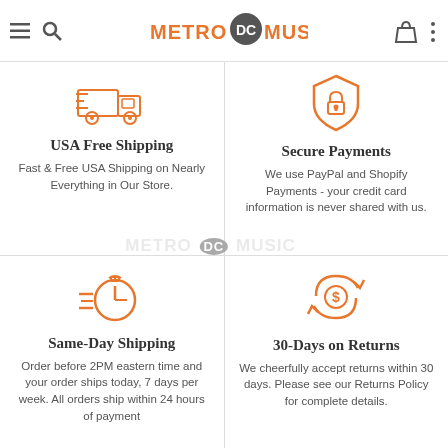METRO DC MUSIC
[Figure (illustration): Orange outline icon of a delivery truck]
USA Free Shipping
Fast & Free USA Shipping on Nearly Everything in Our Store.
[Figure (illustration): Orange outline icon of a shield with lock (secure payment symbol)]
Secure Payments
We use PayPal and Shopify Payments - your credit card information is never shared with us.
[Figure (illustration): Orange outline icon of a stopwatch with speed lines]
Same-Day Shipping
Order before 2PM eastern time and your order ships today, 7 days per week. All orders ship within 24 hours of payment
[Figure (illustration): Orange outline icon of circular arrows with dollar sign (returns/refund symbol)]
30-Days on Returns
We cheerfully accept returns within 30 days. Please see our Returns Policy for complete details.